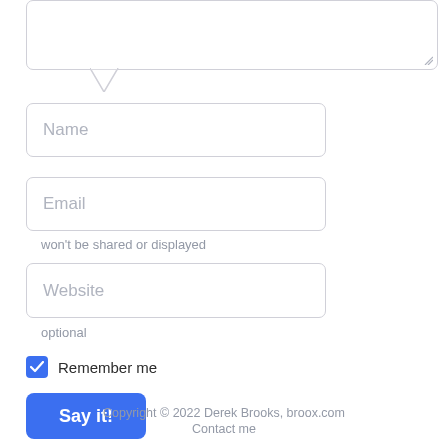[Figure (screenshot): Textarea input box with resize handle and speech bubble tail at bottom-left]
Name
Email
won't be shared or displayed
Website
optional
Remember me
Say it!
Copyright © 2022 Derek Brooks, broox.com
Contact me